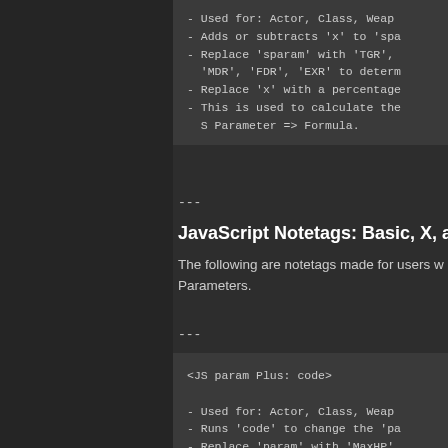[Figure (screenshot): Code block showing bullet points: Used for: Actor, Class, Weap... / Adds or subtracts 'x' to 'spa... / Replace 'sparam' with 'TGR', 'MDR', 'FDR', 'EXR' to determ... / Replace 'x' with a percentage... / This is used to calculate the... S Parameter => Formula.]
---
JavaScript Notetags: Basic, X, and ...
The following are notetags made for users w... Parameters.
---
[Figure (screenshot): Code block showing: <JS param Plus: code> with bullet points: Used for: Actor, Class, Weap... / Runs 'code' to change the 'pa... / Replace 'param' with 'MaxHP' or 'LUK' to determine which p...]